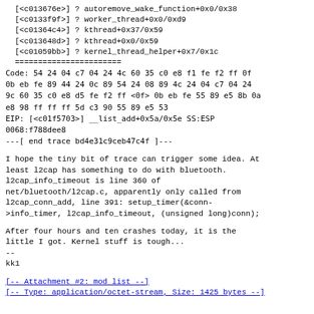[<c013676e>] ? autoremove_wake_function+0x0/0x38
  [<c0133f9f>] ? worker_thread+0x0/0xd9
  [<c01364c4>] ? kthread+0x37/0x59
  [<c013648d>] ? kthread+0x0/0x59
  [<c01059bb>] ? kernel_thread_helper+0x7/0x1c
  =======================
Code: 54 24 04 c7 04 24 4c 60 35 c0 e8 f1 fe f2 ff 0f
0b eb fe 89 44 24 0c 89 54 24 08 89 4c 24 04 c7 04 24
9c 60 35 c0 e8 d5 fe f2 ff <0f> 0b eb fe 55 89 e5 8b 0a
e8 98 ff ff ff 5d c3 90 55 89 e5 53
EIP: [<c01f5703>] __list_add+0x5a/0x5e SS:ESP
0068:f788dee8
---[ end trace bd4e31c9ceb47c4f ]---
I hope the tiny bit of trace can trigger some idea. At
least l2cap has something to do with bluetooth.
l2cap_info_timeout is line 360 of
net/bluetooth/l2cap.c, apparently only called from
l2cap_conn_add, line 391: setup_timer(&conn-
>info_timer, l2cap_info_timeout, (unsigned long)conn);
After four hours and ten crashes today, it is the
little I got. Kernel stuff is tough...
--
kk1
[-- Attachment #2: mod list --]
[-- Type: application/octet-stream, Size: 1425 bytes --]